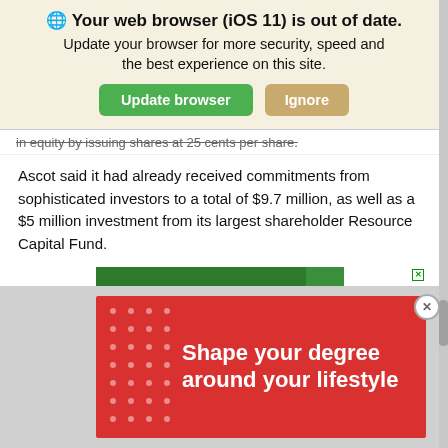🌐 Your web browser (iOS 11) is out of date. Update your browser for more security, speed and the best experience on this site.
in equity by issuing shares at 25 cents per share.
Ascot said it had already received commitments from sophisticated investors to a total of $9.7 million, as well as a $5 million investment from its largest shareholder Resource Capital Fund.
[Figure (infographic): Europcar vehicle rental advertisement: green background with text YOUR LOCAL VEHICLE RENTAL COMPANY, image of a 4WD vehicle, Europcar logo, Call 1300 HIRE ME, www.europcar.com.au]
[Figure (infographic): Red advertisement banner with white dots pattern on left and white text: Shape your degree around your lifestyle]